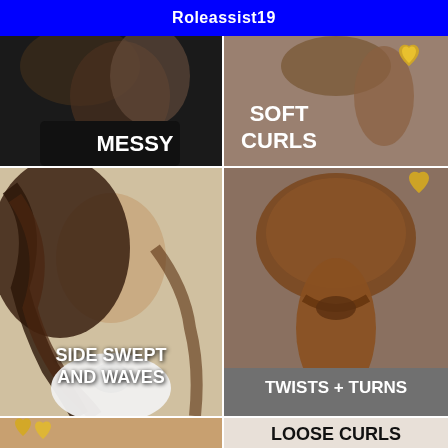Roleassist19
[Figure (photo): Top-left photo: dark-haired woman from behind/side showing messy hairstyle. Label: MESSY]
[Figure (photo): Top-right photo: woman with soft curls ponytail, gold glitter heart decoration. Label: SOFT CURLS]
[Figure (photo): Middle-left large photo: young woman with long wavy side-swept brunette hair, white peter pan collar blouse. Label: SIDE SWEPT AND WAVES]
[Figure (photo): Middle-right large photo: woman from behind with twisted low ponytail of auburn hair, grey jacket. Label: TWISTS + TURNS]
[Figure (photo): Bottom partial photo: gold glitter hearts visible bottom-left corner. Label: LOOSE CURLS (partially visible)]